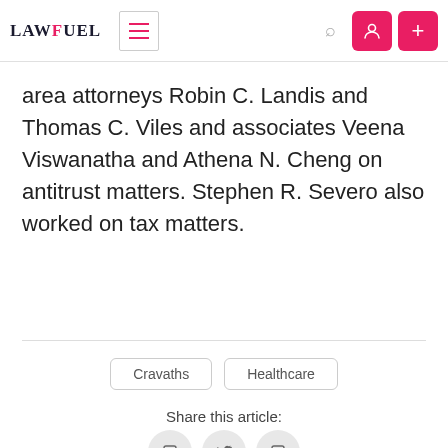LAWFUEL
area attorneys Robin C. Landis and Thomas C. Viles and associates Veena Viswanatha and Athena N. Cheng on antitrust matters. Stephen R. Severo also worked on tax matters.
Cravaths
Healthcare
Share this article: